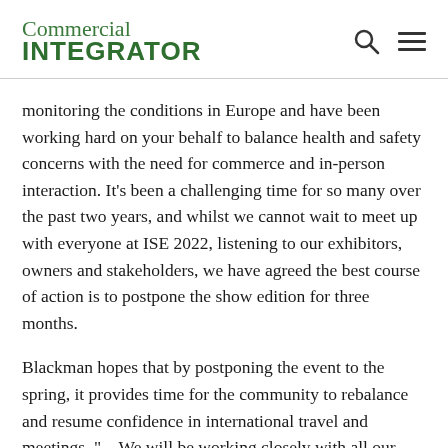Commercial INTEGRATOR
monitoring the conditions in Europe and have been working hard on your behalf to balance health and safety concerns with the need for commerce and in-person interaction. It’s been a challenging time for so many over the past two years, and whilst we cannot wait to meet up with everyone at ISE 2022, listening to our exhibitors, owners and stakeholders, we have agreed the best course of action is to postpone the show edition for three months.
Blackman hopes that by postponing the event to the spring, it provides time for the community to rebalance and resume confidence in international travel and meetings. “…We will be working closely with all our